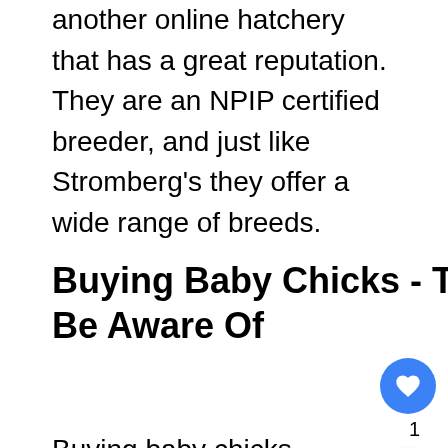another online hatchery that has a great reputation. They are an NPIP certified breeder, and just like Stromberg's they offer a wide range of breeds.
Buying Baby Chicks - Things to Be Aware Of
Buying baby chicks is exciting, they're so cute when they're just days old.
It's easy to get lead by your heart, so